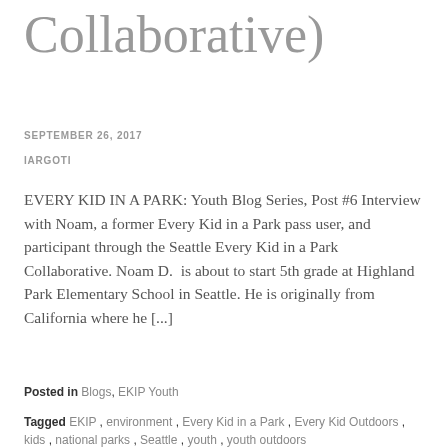Collaborative)
SEPTEMBER 26, 2017
IARGOTI
EVERY KID IN A PARK: Youth Blog Series, Post #6 Interview with Noam, a former Every Kid in a Park pass user, and participant through the Seattle Every Kid in a Park Collaborative. Noam D.  is about to start 5th grade at Highland Park Elementary School in Seattle. He is originally from California where he [...]
Posted in Blogs, EKIP Youth
Tagged EKIP , environment , Every Kid in a Park , Every Kid Outdoors , kids , national parks , Seattle , youth , youth outdoors